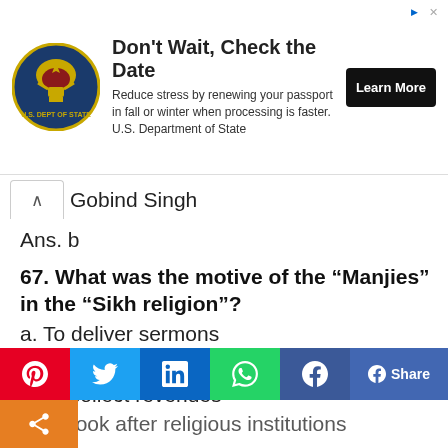[Figure (other): US Department of State advertisement banner: 'Don't Wait, Check the Date' with eagle seal logo, text about renewing passport, and Learn More button]
Gobind Singh
Ans. b
67. What was the motive of the “Manjies” in the “Sikh religion”?
a. To deliver sermons
b. To have love for religion
c. To collect revenues
d. To look after religious institutions
[Figure (other): Social media share bar with Pinterest, Twitter, LinkedIn, WhatsApp, Facebook, Share, and more buttons]